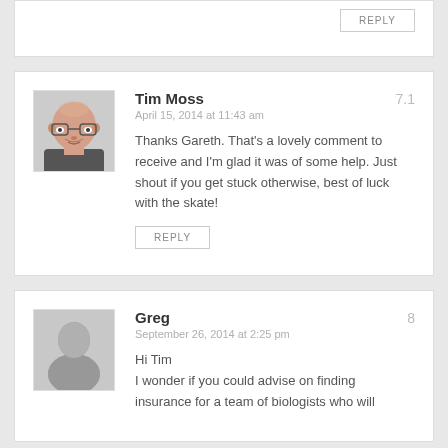REPLY
Tim Moss
7.1
April 15, 2014 at 11:43 am
Thanks Gareth. That's a lovely comment to receive and I'm glad it was of some help. Just shout if you get stuck otherwise, best of luck with the skate!
REPLY
Greg
8
September 26, 2014 at 2:25 pm
Hi Tim
I wonder if you could advise on finding insurance for a team of biologists who will